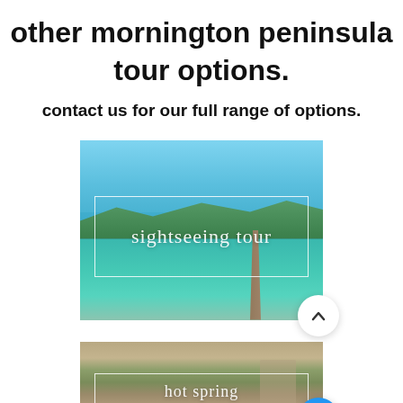other mornington peninsula tour options.
contact us for our full range of options.
[Figure (photo): Scenic coastal view of Mornington Peninsula with turquoise water and pier, with 'sightseeing tour' script text overlay in a white-bordered box. A white circular button with an up chevron is visible in the bottom right.]
[Figure (photo): Outdoor spa or hot spring scene with a person relaxing, natural sandy landscape, with partially visible script text overlay at the bottom. A blue circular button with three dots is visible in the bottom right.]